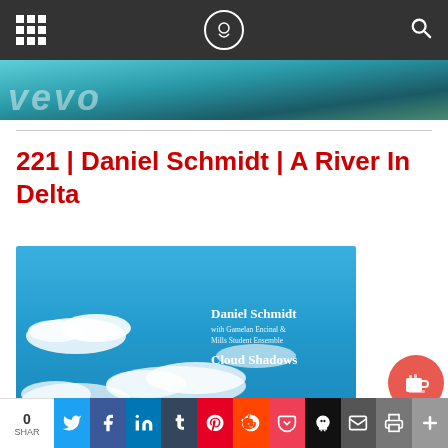Navigation bar with grid menu, logo, and search icon
[Figure (photo): Banner image showing VEVO-style header with teal/blue gradient and white italic text 'vevo']
221 | Daniel Schmidt | A River In Delta
[Figure (photo): Album cover for 'Cloud Shadows' by Daniel Schmidt with Gamelan Encinal & Mills Student Ensemble. Blue sky with white clouds. Text reads: 'Daniel Schmidt / with Gamelan Encinal & / Mills Student Ensemble / Cloud Shadows']
0 SHAR | Social share buttons: Twitter, Facebook, LinkedIn, Tumblr, Pinterest, Reddit, Pocket, Skull, Email, Print, Plus